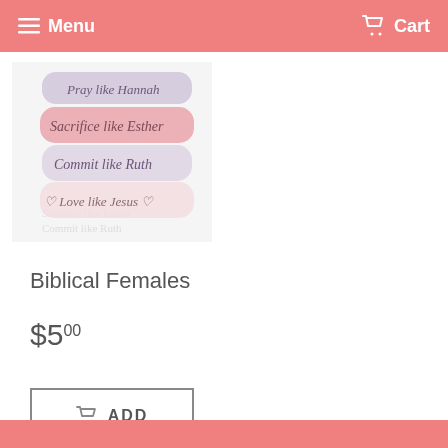Menu  Cart
[Figure (illustration): Stack of pastel-colored sticker strips with cursive text reading 'Sacrifice like Esther', 'Commit like Ruth', 'Love like Jesus', and partially visible text. Background shows a watercolor wash.]
Biblical Females
$5.00
ADD